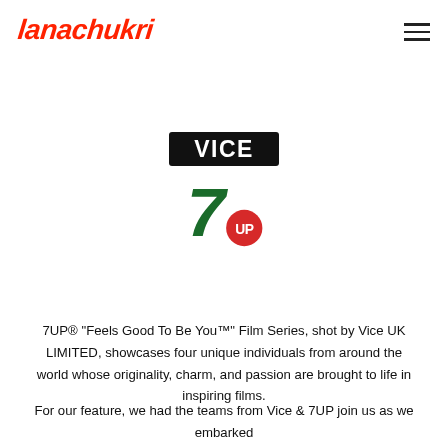lanachukri
[Figure (logo): VICE logo and 7UP logo stacked vertically in the center of the page]
7UP® “Feels Good To Be You™” Film Series, shot by Vice UK LIMITED, showcases four unique individuals from around the world whose originality, charm, and passion are brought to life in inspiring films.
For our feature, we had the teams from Vice & 7UP join us as we embarked